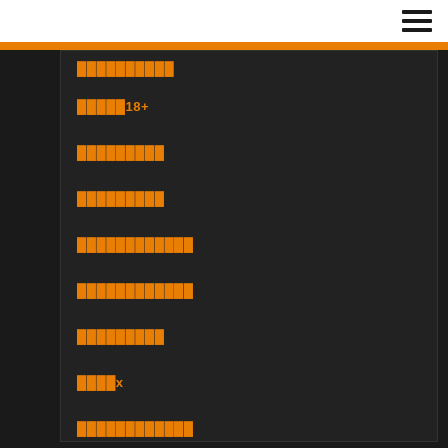██████████
█████18+
█████████
█████████
████████████
████████████
█████████
████x
████████████
████████